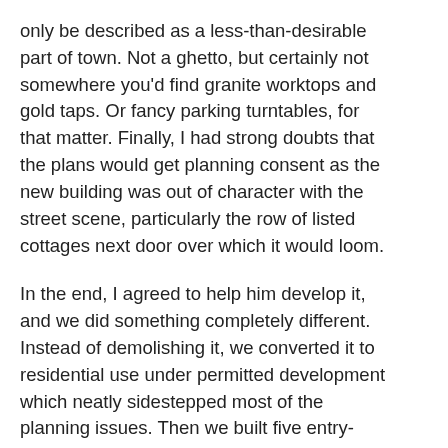only be described as a less-than-desirable part of town. Not a ghetto, but certainly not somewhere you'd find granite worktops and gold taps. Or fancy parking turntables, for that matter. Finally, I had strong doubts that the plans would get planning consent as the new building was out of character with the street scene, particularly the row of listed cottages next door over which it would loom.
In the end, I agreed to help him develop it, and we did something completely different. Instead of demolishing it, we converted it to residential use under permitted development which neatly sidestepped most of the planning issues. Then we built five entry-level one-bed flats, which our estate agent said would sell much quicker than two-beds or studios. And because permitted development doesn't carry a parking requirement, we didn't need to install a fancy turntable, which gave us a lot more space. And there wasn't a granite worktop or gold tap in sight.
Now, you might be thinking, hold on a moment; that architect